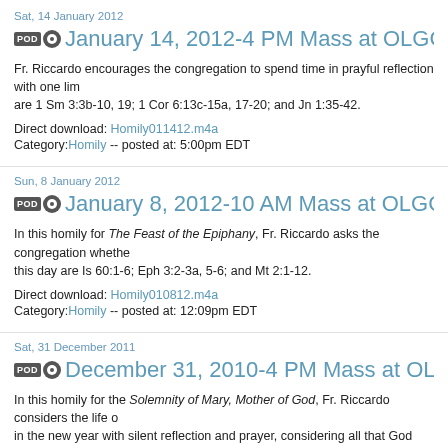Sat, 14 January 2012
January 14, 2012-4 PM Mass at OLGC
Fr. Riccardo encourages the congregation to spend time in prayful reflection with one lim... are 1 Sm 3:3b-10, 19; 1 Cor 6:13c-15a, 17-20; and Jn 1:35-42.
Direct download: Homily011412.m4a
Category:Homily -- posted at: 5:00pm EDT
Sun, 8 January 2012
January 8, 2012-10 AM Mass at OLGC
In this homily for The Feast of the Epiphany, Fr. Riccardo asks the congregation whethe... this day are Is 60:1-6; Eph 3:2-3a, 5-6; and Mt 2:1-12.
Direct download: Homily010812.m4a
Category:Homily -- posted at: 12:09pm EDT
Sat, 31 December 2011
December 31, 2010-4 PM Mass at OLG
In this homily for the Solemnity of Mary, Mother of God, Fr. Riccardo considers the life o... in the new year with silent reflection and prayer, considering all that God has done for us